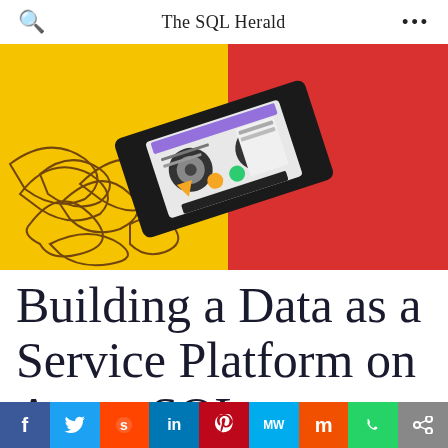The SQL Herald
[Figure (photo): A cassette tape with unspooled tape on a split yellow and red background]
Building a Data as a Service Platform on Azure SQL Database
f  t  s  in  p  MW  m  WhatsApp  share